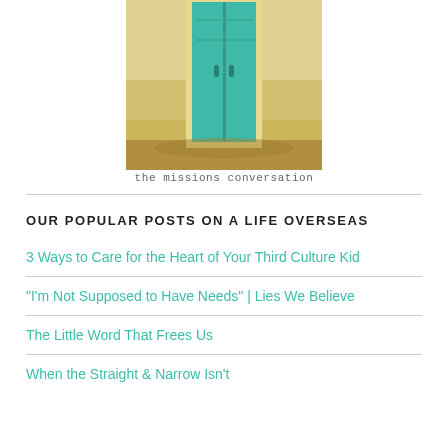[Figure (photo): Photo of a teal/green wooden door set in a sandy yellow-tan wall, with sandy ground at the base.]
the missions conversation
OUR POPULAR POSTS ON A LIFE OVERSEAS
3 Ways to Care for the Heart of Your Third Culture Kid
"I'm Not Supposed to Have Needs" | Lies We Believe
The Little Word That Frees Us
When the Straight & Narrow Isn't